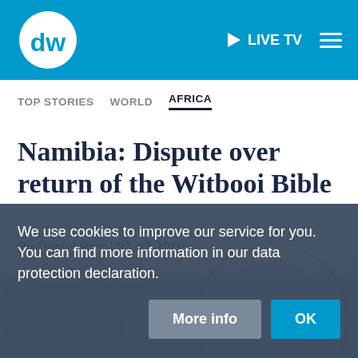DW | LIVE TV
TOP STORIES  WORLD  AFRICA
Namibia: Dispute over return of the Witbooi Bible
By Daniel Pelz | 27.02.2019
We use cookies to improve our service for you. You can find more information in our data protection declaration.